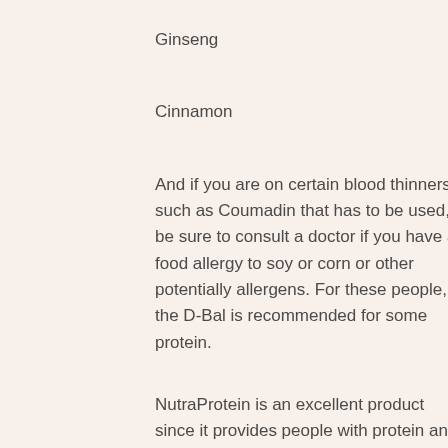Ginseng
Cinnamon
And if you are on certain blood thinners such as Coumadin that has to be used, be sure to consult a doctor if you have a food allergy to soy or corn or other potentially allergens. For these people, the D-Bal is recommended for some protein.
NutraProtein is an excellent product since it provides people with protein and carbohydrates in a complete form that do not interfere with protein synthesis in your body. It can also be used as a post workout energy boost, d-bal before and after. If you are eating Paleo or other diets that don't have a lot of grains, you can take some D-Bal to lose weight because D-Bal will increase the protein in the blood. buy crazy bulk australia